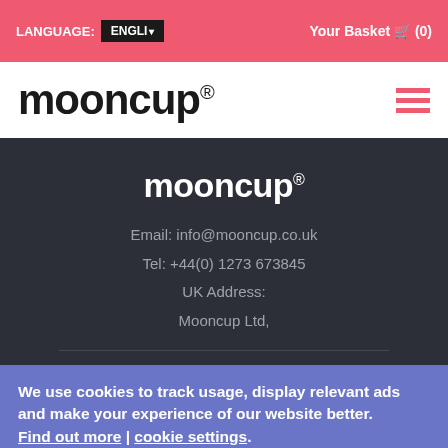LANGUAGE: ENGLI▾  Your Basket 🛒 (0)
[Figure (logo): Mooncup logo in black on white background with hamburger menu icon in pink]
[Figure (logo): Mooncup logo in white on dark background]
Email: info@mooncup.co.uk
Tel: +44(0) 1273 673845
UK Address:
Mooncup Ltd,
We use cookies to track usage, display relevant ads and make your experience of our website better. Find out more | cookie settings.
Accept  Reject